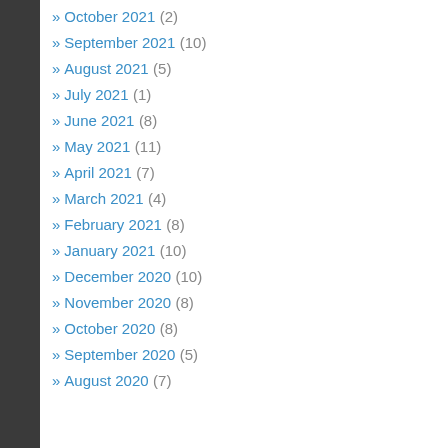» October 2021 (2)
» September 2021 (10)
» August 2021 (5)
» July 2021 (1)
» June 2021 (8)
» May 2021 (11)
» April 2021 (7)
» March 2021 (4)
» February 2021 (8)
» January 2021 (10)
» December 2020 (10)
» November 2020 (8)
» October 2020 (8)
» September 2020 (5)
» August 2020 (7)